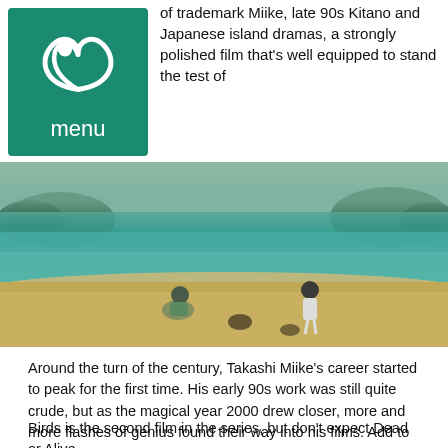of trademark Miike, late 90s Kitano and Japanese island dramas, a strongly polished film that's well equipped to stand the test of
[Figure (logo): Letterboxd-style logo: teal/green background with white stylized film reel or wing icon and 'menu' text label below]
[Figure (photo): Beach scene with two children on sandy shore, turquoise-green ocean water and tree-lined islands in the background. Still from a film.]
Around the turn of the century, Takashi Miike's career started to peak for the first time. His early 90s work was still quite crude, but as the magical year 2000 drew closer, more and more flashes of genius found their way into his films. Add to that the fact that he was releasing 4 to 5 movies per year and that Asian cinema was actively booming on an international scale, and you have pretty perfect circumstances for a flourishing director to make himself known to the world.
Birds is the second film in the series, but don't expect Dead or Alive